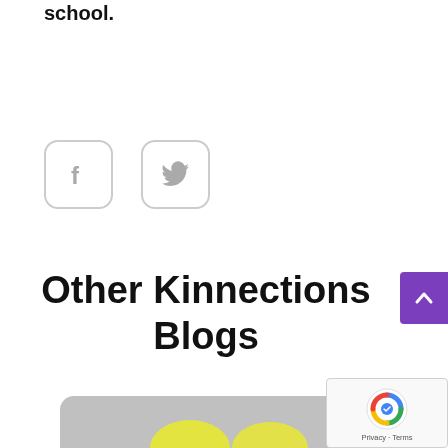school.
[Figure (illustration): Facebook and Twitter social share icon buttons with rounded rectangle borders in light gray]
Other Kinnections Blogs
[Figure (photo): Partially visible blog post thumbnail image showing yellow objects on a gray background, rounded corners at top]